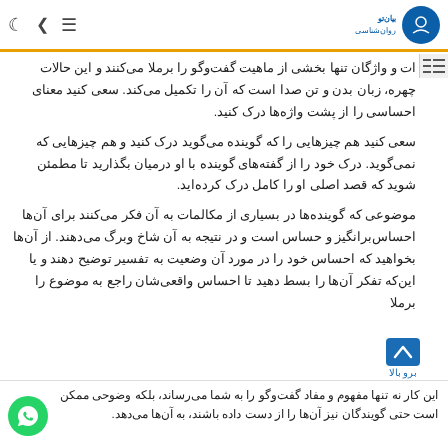بروبالا - header with icons and logo
ات و واژگان تنها بخشی از ماهیت گفت‌وگو را برملا می‌کنند و این حالات چهره، زبان بدن و تن صدا است که آن را تکمیل می‌کند. سعی کنید معنای احساسی را از پشت واژه‌ها درک کنید.
سعی کنید هم چیزهایی را که گوینده می‌گوید درک کنید و هم چیزهایی که نمی‌گوید. درک خود را از گفته‌های گوینده با او درمیان بگذارید تا مطمئن شوید که قصد اصلی او را کامل درک کرده‌اید.
موضوعی که گوینده‌ها در بسیاری از مکالمات به آن فکر می‌کنند برای آن‌ها احساس‌برانگیز و حساس است و در نتیجه به آن شاخ وبرگ می‌دهند. از آن‌ها بخواهید که احساس خود را در مورد آن وضعیت به تفسیر توضیح دهند و یا این‌که تفکر آن‌ها را بسط دهید تا احساس واقعی‌شان راجع به موضوع را برملا
این کار نه تنها مفهوم و مفاد گفت‌وگو را به شما می‌رساند، بلکه وضوحی ممکن است حتی گویندگان نیز آن‌ها را از دست داده باشند، به آن‌ها می‌دهد.